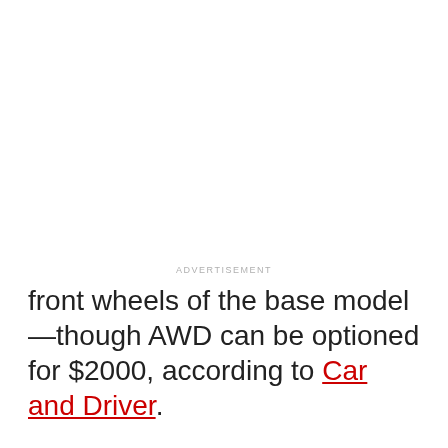front wheels of the base model—though AWD can be optioned for $2000, according to Car and Driver.
ADVERTISEMENT
[Figure (other): Advertisement placeholder box (light gray background)]